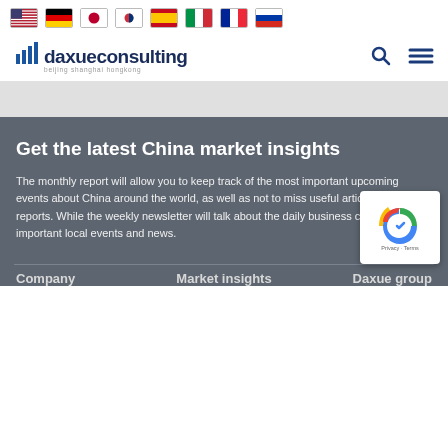[Figure (other): Row of country flag icons: USA, Germany, Japan, South Korea, Spain, Italy, France, Russia]
[Figure (logo): Daxue Consulting logo with bar chart icon, text 'daxueconsulting', subtitle 'beijing shanghai hongkong', search icon, and hamburger menu icon]
Get the latest China market insights
The monthly report will allow you to keep track of the most important upcoming events about China around the world, as well as not to miss useful articles and reports. While the weekly newsletter will talk about the daily business cases of China, important local events and news.
Company    Market insights    Daxue group